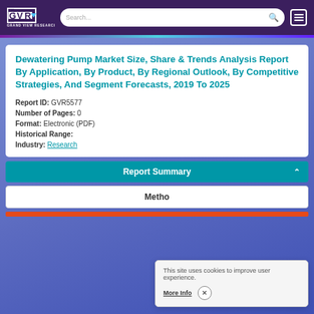Grand View Research
Dewatering Pump Market Size, Share & Trends Analysis Report By Application, By Product, By Regional Outlook, By Competitive Strategies, And Segment Forecasts, 2019 To 2025
Report ID: GVR5577
Number of Pages: 0
Format: Electronic (PDF)
Historical Range:
Industry: Research
Report Summary
Metho
This site uses cookies to improve user experience.